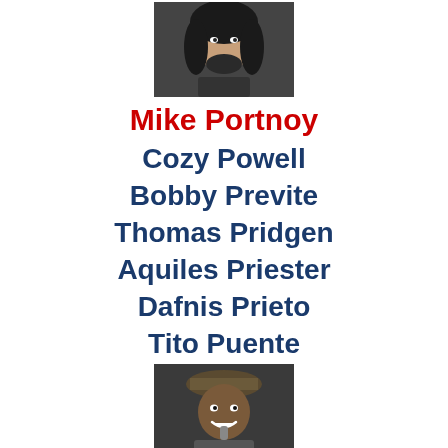[Figure (photo): Photo of Mike Portnoy, a person with long curly dark hair]
Mike Portnoy
Cozy Powell
Bobby Previte
Thomas Pridgen
Aquiles Priester
Dafnis Prieto
Tito Puente
[Figure (photo): Photo of Bernard 'Pretty' Purdie, smiling man wearing a hat]
Bernard "Pretty" Purdie
Alvin Queen
Jeff Queen
Questlove
Johnny Rabb